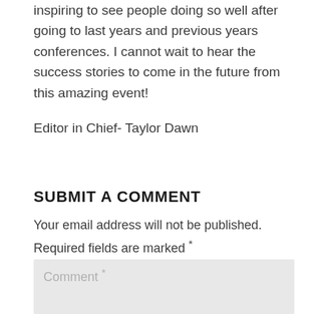inspiring to see people doing so well after going to last years and previous years conferences. I cannot wait to hear the success stories to come in the future from this amazing event!
Editor in Chief- Taylor Dawn
SUBMIT A COMMENT
Your email address will not be published. Required fields are marked *
Comment *